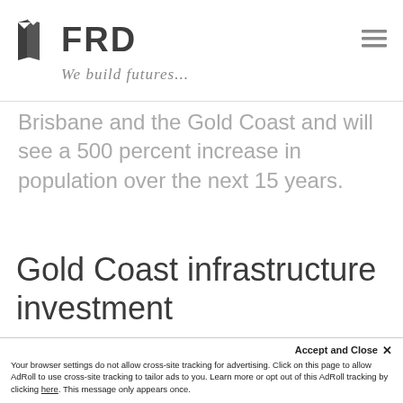[Figure (logo): FRD company logo with icon of two overlapping building/flag shapes in dark gray and text FRD in bold, with tagline 'We build futures...' in italic script below]
Brisbane and the Gold Coast and will see a 500 percent increase in population over the next 15 years.
Gold Coast infrastructure investment
Projects include the now completed $2
Accept and Close ✕
Your browser settings do not allow cross-site tracking for advertising. Click on this page to allow AdRoll to use cross-site tracking to tailor ads to you. Learn more or opt out of this AdRoll tracking by clicking here. This message only appears once.